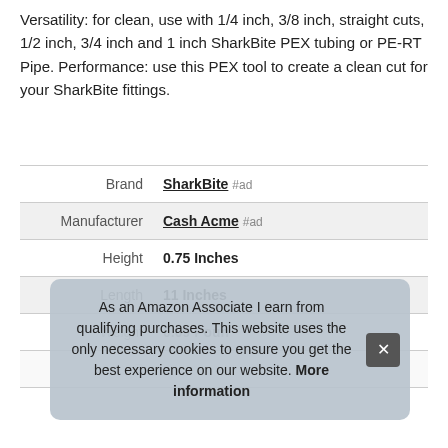Versatility: for clean, use with 1/4 inch, 3/8 inch, straight cuts, 1/2 inch, 3/4 inch and 1 inch SharkBite PEX tubing or PE-RT Pipe. Performance: use this PEX tool to create a clean cut for your SharkBite fittings.
|  |  |
| --- | --- |
| Brand | SharkBite #ad |
| Manufacturer | Cash Acme #ad |
| Height | 0.75 Inches |
| Length | 11 Inches |
| Weight | 0.09 Poun... |
| P | ... |
As an Amazon Associate I earn from qualifying purchases. This website uses the only necessary cookies to ensure you get the best experience on our website. More information